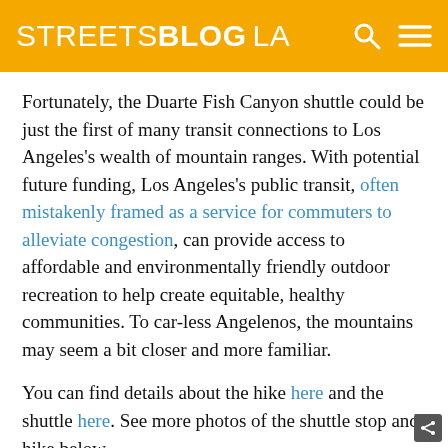STREETSBLOG LA
Fortunately, the Duarte Fish Canyon shuttle could be just the first of many transit connections to Los Angeles's wealth of mountain ranges. With potential future funding, Los Angeles's public transit, often mistakenly framed as a service for commuters to alleviate congestion, can provide access to affordable and environmentally friendly outdoor recreation to help create equitable, healthy communities. To car-less Angelenos, the mountains may seem a bit closer and more familiar.
You can find details about the hike here and the shuttle here. See more photos of the shuttle stop and hike below.